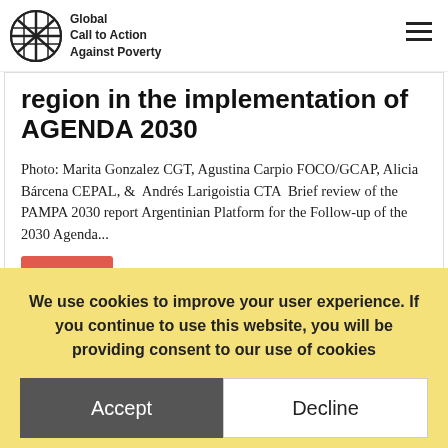Global Call to Action Against Poverty
region in the implementation of AGENDA 2030
Photo: Marita Gonzalez CGT, Agustina Carpio FOCO/GCAP, Alicia Bárcena CEPAL, &  Andrés Larigoistia CTA  Brief review of the PAMPA 2030 report Argentinian Platform for the Follow-up of the 2030 Agenda...
We use cookies! By using this website without changing your settings, you consent to our use of
We use cookies to improve your user experience. If you continue to use this website, you will be providing consent to our use of cookies
Accept
Decline